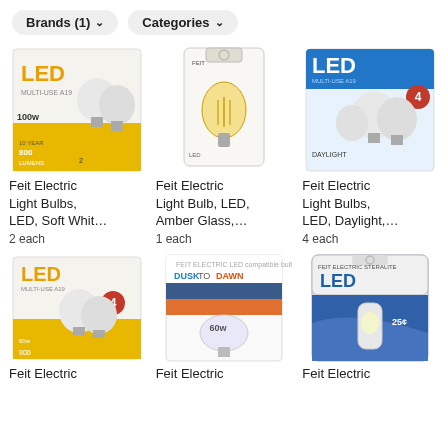Brands (1)   Categories
[Figure (photo): Feit Electric LED Multi-Use light bulb 2-pack box, white bulbs, 100w equivalent]
Feit Electric Light Bulbs, LED, Soft Whit…
2 each
[Figure (photo): Feit Electric LED light bulb, vintage Edison style Amber Glass, single bulb in clear packaging]
Feit Electric Light Bulb, LED, Amber Glass,…
1 each
[Figure (photo): Feit Electric LED Multi-Use light bulb 4-pack box, white bulbs, daylight]
Feit Electric Light Bulbs, LED, Daylight,…
4 each
[Figure (photo): Feit Electric LED Multi-Use light bulb 4-pack box, soft white, 60w equivalent]
Feit Electric
[Figure (photo): Feit Electric LED Dusk to Dawn 60w equivalent light bulb in blister pack]
Feit Electric
[Figure (photo): Feit Electric LED night light / plug-in light, STERALITE branding, 25 cent offer label]
Feit Electric